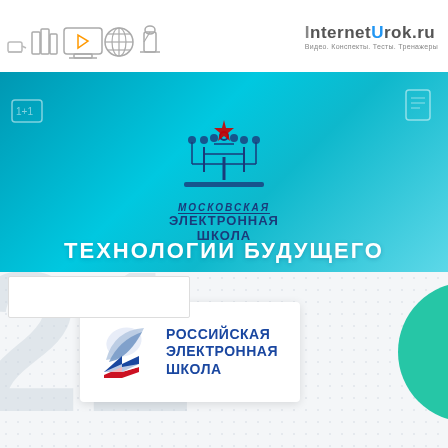[Figure (logo): InternetUrok.ru logo with tagline: Видео. Конспекты. Тесты. Тренажеры, and educational icons (books, monitor, globe, microscope)]
[Figure (logo): Московская электронная школа logo on blue gradient background with circuit tree graphic and text МОСКОВСКАЯ ЭЛЕКТРОННАЯ ШКОЛА]
ТЕХНОЛОГИИ БУДУЩЕГО
[Figure (logo): Российская электронная школа logo: white box with pen/dove icon and tricolor chevron, text РОССИЙСКАЯ ЭЛЕКТРОННАЯ ШКОЛА in blue]
[Figure (infographic): Lower white/grey section with large watermark 21, teal arc on right side, dotted grid pattern]